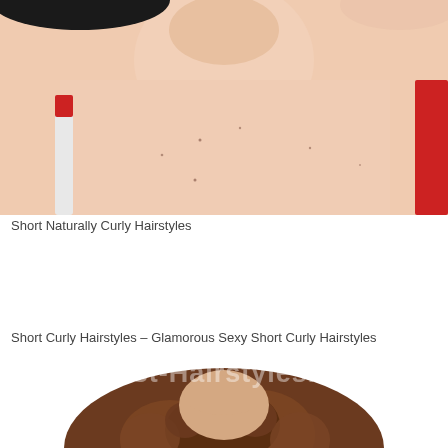[Figure (photo): Close-up photo of a woman's neck and upper chest area, wearing a white strap top and red garment, against white background. Hair visible at top of frame.]
Short Naturally Curly Hairstyles
Short Curly Hairstyles – Glamorous Sexy Short Curly Hairstyles
[Figure (photo): Photo of a person with short, voluminous, curly brown hair. Watermark reads 'Latest-Hairstyles.com' overlaid in white text.]